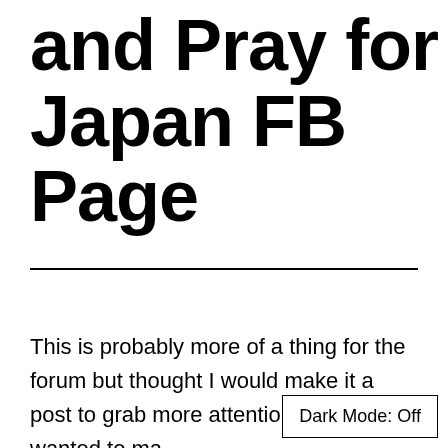and Pray for Japan FB Page
This is probably more of a thing for the forum but thought I would make it a post to grab more attention.  Just wanted to ma
Dark Mode: Off